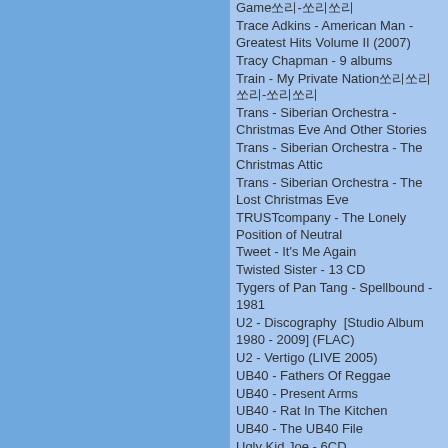Game쏘리-쏘리쏘리
Trace Adkins - American Man - Greatest Hits Volume II (2007)
Tracy Chapman - 9 albums
Train - My Private Nation쏘리쏘리쏘리-쏘리쏘리
Trans - Siberian Orchestra - Christmas Eve And Other Stories
Trans - Siberian Orchestra - The Christmas Attic
Trans - Siberian Orchestra - The Lost Christmas Eve
TRUSTcompany - The Lonely Position of Neutral
Tweet - It's Me Again
Twisted Sister - 13 CD
Tygers of Pan Tang - Spellbound - 1981
U2 - Discography  [Studio Album 1980 - 2009] (FLAC)
U2 - Vertigo (LIVE 2005)
UB40 - Fathers Of Reggae
UB40 - Present Arms
UB40 - Rat In The Kitchen
UB40 - The UB40 File
Ugly Kid Joe - 6CD
Uriah Heep(28장반)
USA for Africa - We Are the World
Usher- Confessions 쏘리-쏘리쏘리쏘리